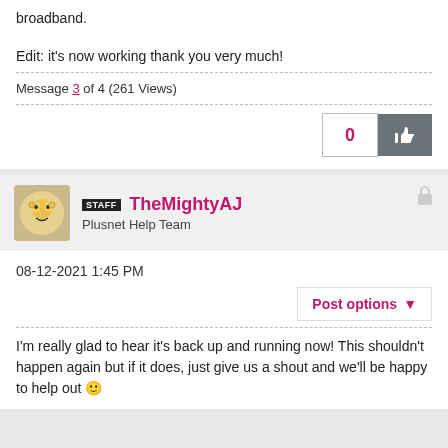broadband.
Edit: it's now working thank you very much!
Message 3 of 4 (261 Views)
[Figure (other): Like button with count 0]
[Figure (other): User avatar for TheMightyAJ]
STAFF TheMightyAJ
Plusnet Help Team
08-12-2021 1:45 PM
Post options
I'm really glad to hear it's back up and running now! This shouldn't happen again but if it does, just give us a shout and we'll be happy to help out 🙂